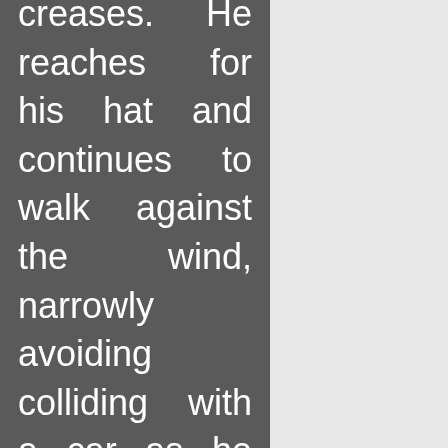creases. He reaches for his hat and continues to walk against the wind, narrowly avoiding colliding with a car as he crosses the road. He picks up the pace and weaves between the